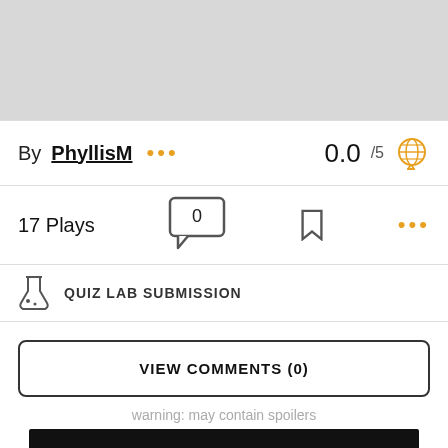[Figure (photo): Gray placeholder image at top of page]
By PhyllisM ••• 0.0 /5
17 Plays 0 (comment bubble) bookmark icon •••
QUIZ LAB SUBMISSION
VIEW COMMENTS (0)
warning: may contain spoilers
[Figure (other): Black banner with orange bold text reading IT'S TIME TO]